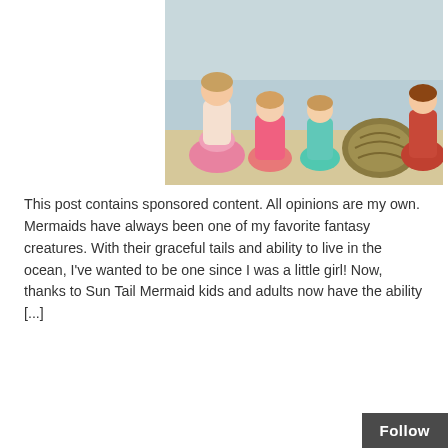[Figure (photo): Photo of people dressed as mermaids on a beach, including children and adults wearing colorful mermaid tails (pink, teal, orange). A large decorative turtle shell prop is visible.]
This post contains sponsored content. All opinions are my own. Mermaids have always been one of my favorite fantasy creatures. With their graceful tails and ability to live in the ocean, I've wanted to be one since I was a little girl! Now, thanks to Sun Tail Mermaid kids and adults now have the ability [...]
[Figure (infographic): Sharing is caring section with a red cursive text label 'Sharing is caring' with a curved arrow pointing to four social media icons: Facebook (blue), Twitter (light blue), LinkedIn (dark blue), Flipboard/share (green).]
Christmas Presents for Energetic Children